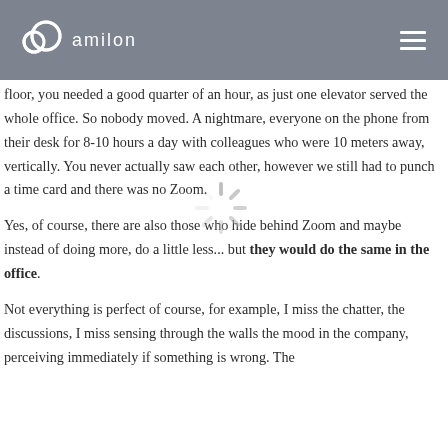amilon
floor, you needed a good quarter of an hour, as just one elevator served the whole office. So nobody moved. A nightmare, everyone on the phone from their desk for 8-10 hours a day with colleagues who were 10 meters away, vertically. You never actually saw each other, however we still had to punch a time card and there was no Zoom.
Yes, of course, there are also those who hide behind Zoom and maybe instead of doing more, do a little less... but they would do the same in the office.
Not everything is perfect of course, for example, I miss the chatter, the discussions, I miss sensing through the walls the mood in the company, perceiving immediately if something is wrong. The